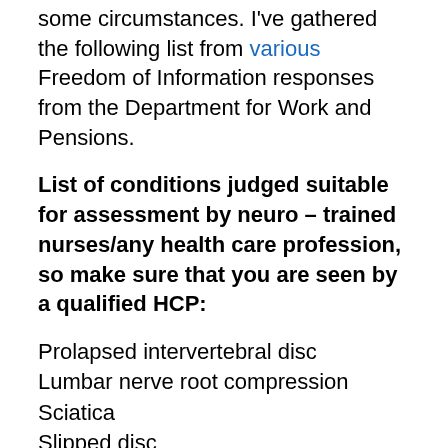some circumstances. I've gathered the following list from various Freedom of Information responses from the Department for Work and Pensions.
List of conditions judged suitable for assessment by neuro – trained nurses/any health care profession, so make sure that you are seen by a qualified HCP:
Prolapsed intervertebral disc
Lumbar nerve root compression
Sciatica
Slipped disc
Lumbar spondylosis